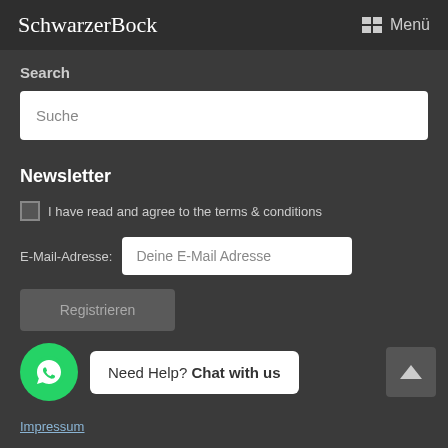SchwarzerBock  Menü
Search
Suche
Newsletter
I have read and agree to the terms & conditions
E-Mail-Adresse: Deine E-Mail Adresse
Registrieren
Need Help? Chat with us
Impressum